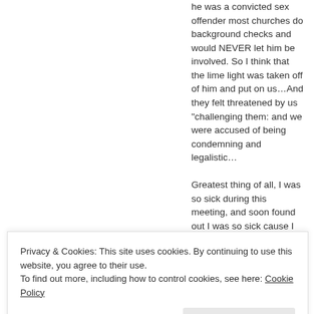he was a convicted sex offender most churches do background checks and would NEVER let him be involved. So I think that the lime light was taken off of him and put on us…And they felt threatened by us “challenging them: and we were accused of being condemning and legalistic…
Greatest thing of all, I was so sick during this meeting, and soon found out I was so sick cause I was pregnant (great
Privacy & Cookies: This site uses cookies. By continuing to use this website, you agree to their use.
To find out more, including how to control cookies, see here: Cookie Policy
he took out on the Lake…she